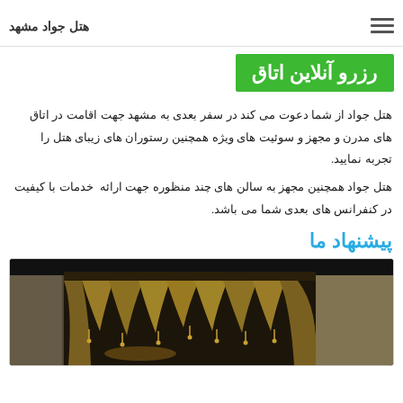هتل جواد مشهد
رزرو آنلاین اتاق
هتل جواد از شما دعوت می کند در سفر بعدی به مشهد جهت اقامت در اتاق های مدرن و مجهز و سوئیت های ویژه همچنین رستوران های زیبای هتل را تجربه نمایید.
هتل جواد همچنین مجهز به سالن های چند منظوره جهت ارائه  خدمات با کیفیت در کنفرانس های بعدی شما می باشد.
پیشنهاد ما
[Figure (photo): Interior hotel room image showing ornate golden draped curtains with tassels hanging from a dark canopy, with decorative wallpaper visible in the background.]